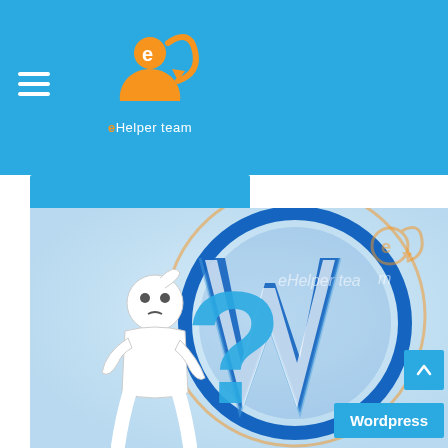[Figure (logo): eHelper team logo with orange e-person icon and blue circular arrow, white text 'eHelper team' below]
[Figure (illustration): A 3D white figurine scratching its head next to a large blue question mark, overlaid on a WordPress W logo in blue circle, with eHelper team watermark]
Wordpress